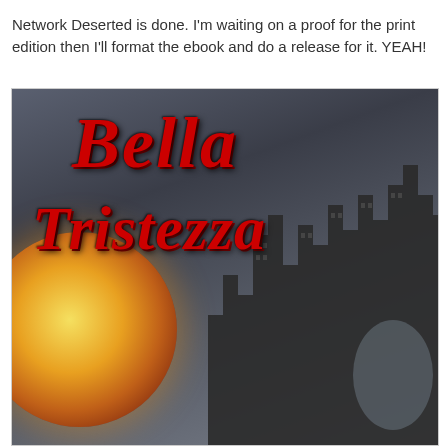Network Deserted is done. I'm waiting on a proof for the print edition then I'll format the ebook and do a release for it. YEAH!
[Figure (illustration): Book cover for 'Bella Tristezza' featuring a large orange-red blood moon on the left side against a dark grey sky, with a dark city skyline silhouette on the right side. The title 'Bella Tristezza' is written in large red italic script font with drop shadow.]